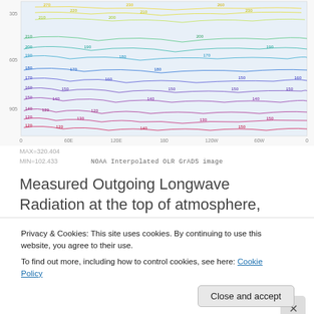[Figure (continuous-plot): NOAA Interpolated OLR GrADS image - contour map of outgoing longwave radiation over a world map. Colorful contour lines ranging from ~120 to ~320 with latitude labels 305, 605, 905 on left and longitude labels 0, 60E, 120E, 180, 120W, 60W, 0 on bottom.]
MAX=320.404
MIN=102.433		NOAA Interpolated OLR GrADS image
Measured Outgoing Longwave Radiation at the top of atmosphere, June 2009
[Figure (other): DuckDuckGo advertisement banner: 'Search, browse, and email with more privacy. All in One Free App']
Privacy & Cookies: This site uses cookies. By continuing to use this website, you agree to their use.
To find out more, including how to control cookies, see here: Cookie Policy
Close and accept